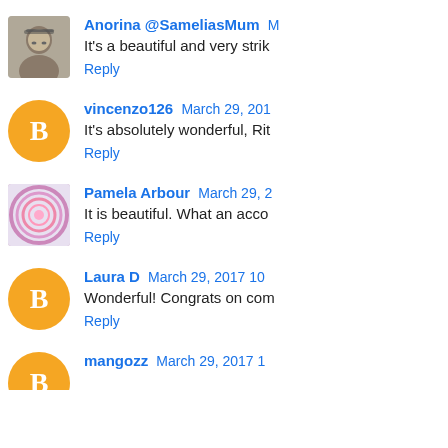Anorina @SameliasMum [date truncated] It's a beautiful and very strik[ing...] Reply
vincenzo126 March 29, 201[...] It's absolutely wonderful, Rit[a...] Reply
Pamela Arbour March 29, 2[...] It is beautiful. What an acco[mplishment...] Reply
Laura D March 29, 2017 10[...] Wonderful! Congrats on com[pleting...] Reply
mangozz March 29, 2017 1[...]